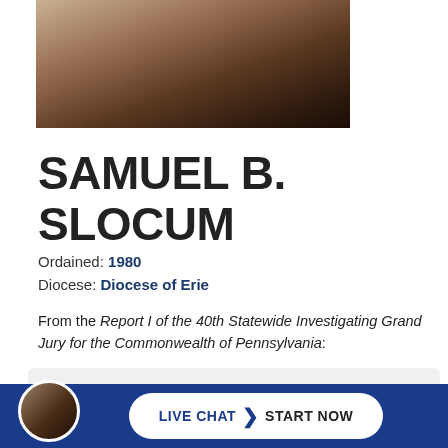[Figure (photo): Partial photo of a person, cropped at top, showing lower face/neck area]
SAMUEL B. SLOCUM
Ordained: 1980
Diocese: Diocese of Erie
From the Report I of the 40th Statewide Investigating Grand Jury for the Commonwealth of Pennsylvania:
Father Samuel B. Slocum testified before the Grand Jury on September 14, 2017, detailing his duties as a priest in the Diocese of Erie. In 2012, a
[Figure (photo): Small circular avatar photo of a person in a suit]
LIVE CHAT  ❯  START NOW